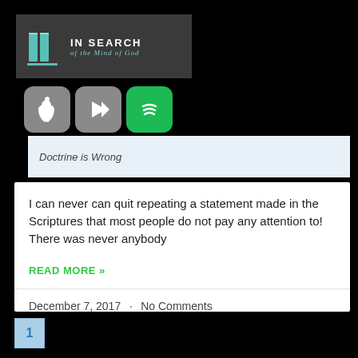[Figure (logo): In Search of the Mind of God logo with teal book icon on dark grey banner background]
[Figure (infographic): Three app store buttons: Apple (grey), Google Play (grey), Spotify (green)]
Doctrine is Wrong
I can never can quit repeating a statement made in the Scriptures that most people do not pay any attention to! There was never anybody
READ MORE »
December 7, 2017  ·  No Comments
1